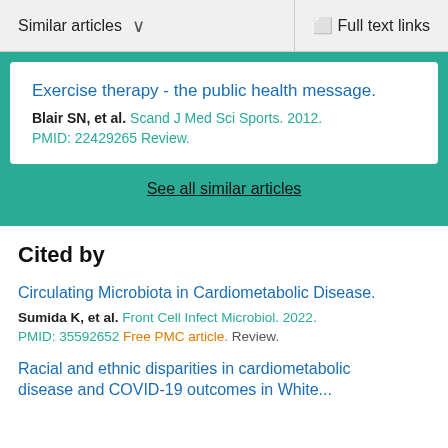Similar articles  ∨  Full text links
Exercise therapy - the public health message.
Blair SN, et al. Scand J Med Sci Sports. 2012.
PMID: 22429265 Review.
See all similar articles
Cited by
Circulating Microbiota in Cardiometabolic Disease.
Sumida K, et al. Front Cell Infect Microbiol. 2022.
PMID: 35592652 Free PMC article. Review.
Racial and ethnic disparities in cardiometabolic disease and COVID-19 outcomes in White...